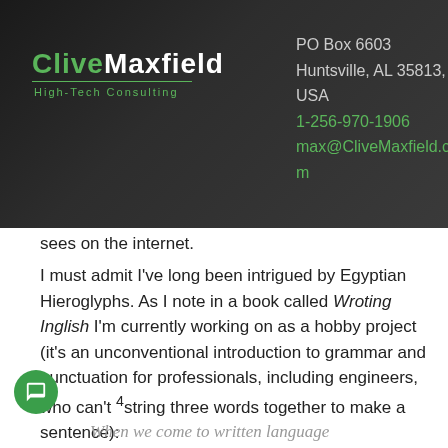[Figure (logo): CliveMaxfield High-Tech Consulting logo on dark background header]
PO Box 6603
Huntsville, AL 35813, USA
1-256-970-1906
max@CliveMaxfield.com
sees on the internet.
I must admit I've long been intrigued by Egyptian Hieroglyphs. As I note in a book called Wroting Inglish I'm currently working on as a hobby project (it's an unconventional introduction to grammar and punctuation for professionals, including engineers, who can't string three words together to make a sentence):
When we come to written language